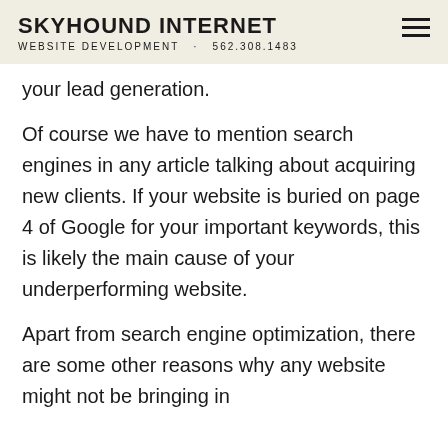SKYHOUND INTERNET
WEBSITE DEVELOPMENT · 562.308.1483
your lead generation.
Of course we have to mention search engines in any article talking about acquiring new clients. If your website is buried on page 4 of Google for your important keywords, this is likely the main cause of your underperforming website.
Apart from search engine optimization, there are some other reasons why any website might not be bringing in